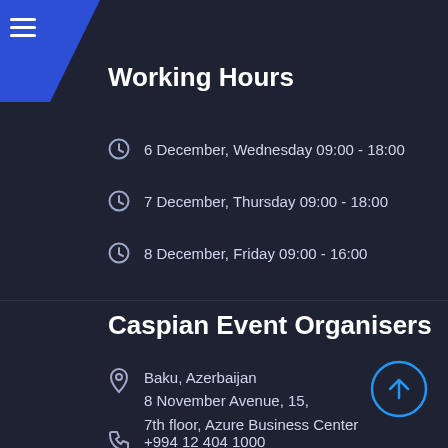Working Hours
6 December, Wednesday 09:00 - 18:00
7 December, Thursday 09:00 - 18:00
8 December, Friday 09:00 - 16:00
Caspian Event Organisers
Baku, Azerbaijan
8 November Avenue, 15,
7th floor, Azure Business Center
+994 12 404 1000
+994 12 404 1001